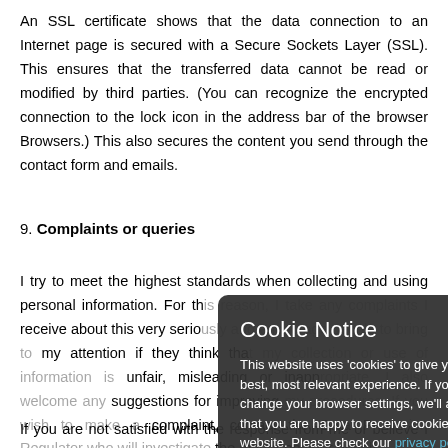An SSL certificate shows that the data connection to an Internet page is secured with a Secure Sockets Layer (SSL). This ensures that the transferred data cannot be read or modified by third parties. (You can recognize the encrypted connection to the lock icon in the address bar of the browser Browsers.) This also secures the content you send through the contact form and emails.
9. Complaints or queries
I try to meet the highest standards when collecting and using personal information. For this reason, I take any complaints I receive about this very seriously and encourage people to bring to my attention if they think that my collection or use of information is unfair, misleading or inappropriate. I also welcome any suggestions for improving my procedures. If you wish to make a complaint, contact the Data Protection Regulator who will investigate the matter on your behalf.
If you are not satisfied with the response from me or believe I am
[Figure (other): Cookie Notice overlay popup with dark semi-transparent background. Title: 'Cookie Notice'. Body text: 'This website uses cookies to give you the best, most relevant experience. If you don't change your browser settings, we'll assume that you are happy to receive cookies on this website. Please check our privacy policy for further information.' Close button at bottom right.]